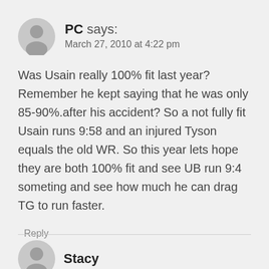[Figure (illustration): Gray circular avatar with generic person silhouette icon]
PC says:
March 27, 2010 at 4:22 pm
Was Usain really 100% fit last year? Remember he kept saying that he was only 85-90%.after his accident? So a not fully fit Usain runs 9:58 and an injured Tyson equals the old WR. So this year lets hope they are both 100% fit and see UB run 9:4 someting and see how much he can drag TG to run faster.
Reply
[Figure (illustration): Gray circular avatar with generic person silhouette icon for next commenter Stacy]